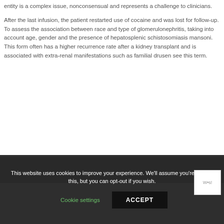entity is a complex issue, nonconsensual and represents a challenge to clinicians.
After the last infusion, the patient restarted use of cocaine and was lost for follow-up. To assess the association between race and type of glomerulonephritis, taking into account age, gender and the presence of hepatosplenic schistosomiasis mansoni. This form often has a higher recurrence rate after a kidney transplant and is associated with extra-renal manifestations such as familial drusen see this term.
This website uses cookies to improve your experience. We'll assume you're ok with this, but you can opt-out if you wish.